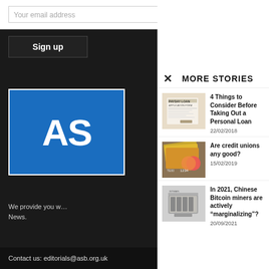Your email address
Sign up
[Figure (logo): ASB logo — white letters AS on blue background with white border]
We provide you w… News.
MORE STORIES
[Figure (photo): Payday loan application form document]
4 Things to Consider Before Taking Out a Personal Loan
22/02/2018
[Figure (photo): Credit cards and cash fanned out]
Are credit unions any good?
15/02/2019
[Figure (photo): Bitcoin mining hardware / ASIC miner machine]
In 2021, Chinese Bitcoin miners are actively “marginalizing”?
20/09/2021
Contact us: editorials@asb.org.uk
Privacy · Terms